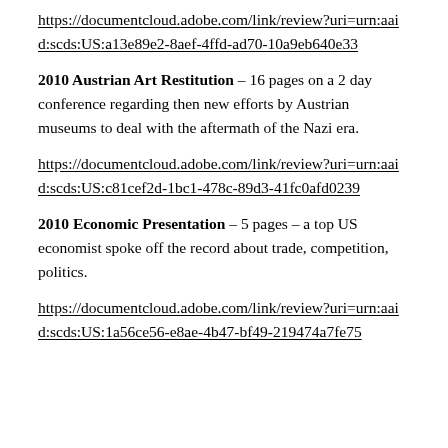https://documentcloud.adobe.com/link/review?uri=urn:aaid:scds:US:a13e89e2-8aef-4ffd-ad70-10a9eb640e33
2010 Austrian Art Restitution – 16 pages on a 2 day conference regarding then new efforts by Austrian museums to deal with the aftermath of the Nazi era.
https://documentcloud.adobe.com/link/review?uri=urn:aaid:scds:US:c81cef2d-1bc1-478c-89d3-41fc0afd0239
2010 Economic Presentation – 5 pages – a top US economist spoke off the record about trade, competition, politics.
https://documentcloud.adobe.com/link/review?uri=urn:aaid:scds:US:1a56ce56-e8ae-4b47-bf49-219474a7fe75